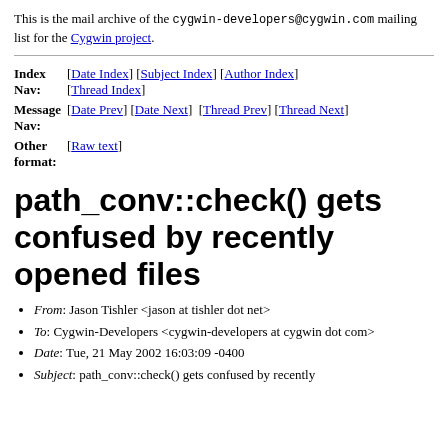This is the mail archive of the cygwin-developers@cygwin.com mailing list for the Cygwin project.
| Index Nav: | [Date Index] [Subject Index] [Author Index] [Thread Index] |
| Message Nav: | [Date Prev] [Date Next] [Thread Prev] [Thread Next] |
| Other format: | [Raw text] |
path_conv::check() gets confused by recently opened files
From: Jason Tishler <jason at tishler dot net>
To: Cygwin-Developers <cygwin-developers at cygwin dot com>
Date: Tue, 21 May 2002 16:03:09 -0400
Subject: path_conv::check() gets confused by recently opened files